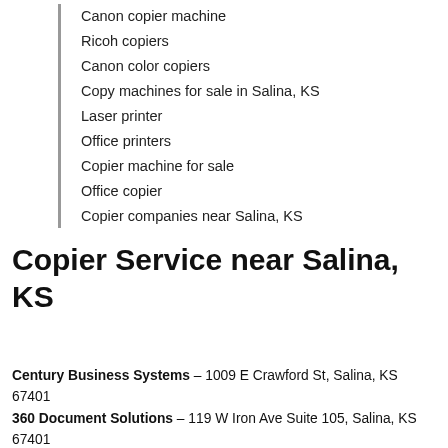Canon copier machine
Ricoh copiers
Canon color copiers
Copy machines for sale in Salina, KS
Laser printer
Office printers
Copier machine for sale
Office copier
Copier companies near Salina, KS
Copier Service near Salina, KS
Century Business Systems – 1009 E Crawford St, Salina, KS 67401
360 Document Solutions – 119 W Iron Ave Suite 105, Salina, KS 67401